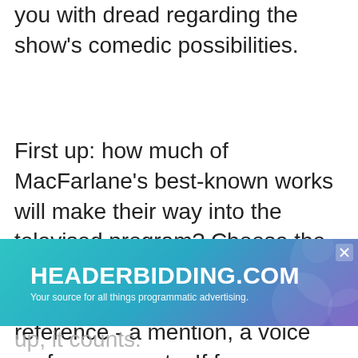you with dread regarding the show's comedic possibilities.
First up: how much of MacFarlane's best-known works will make their way into the televised program? Choose the best answer. A) There will be a Family Guy reference - a mention, a voice performance, etc. If for
[Figure (logo): HEADERBIDDING.COM advertisement banner with teal/purple gradient background. Text: HEADERBIDDING.COM - Your source for all things programmatic advertising.]
up, it counts.